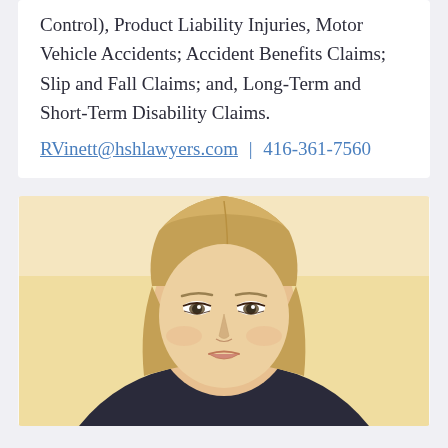…(Birth Control), Product Liability Injuries, Motor Vehicle Accidents; Accident Benefits Claims; Slip and Fall Claims; and, Long-Term and Short-Term Disability Claims.
RVinett@hshlawyers.com | 416-361-7560
[Figure (photo): Professional headshot of a young blonde woman with straight hair, against a warm cream/light yellow background.]